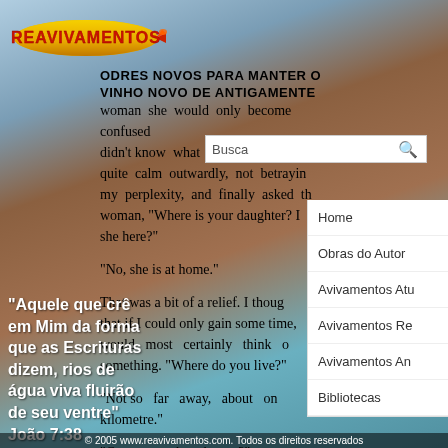[Figure (logo): Reavivamentos logo - yellow torpedo/blimp shape with red text REAVIVAMENTOS and a rocket]
ODRES NOVOS PARA MANTER O VINHO NOVO DE ANTIGAMENTE
woman she would only become confused ... didn't know what to do. I remained quite calm outwardly, not betraying my perplexity, and finally asked the woman, "Where is your daughter? Is she here?"
"No, she is at home."
That was a bit of a relief. I thought that if I could only gain some time, I would most certainly think of something. "Where do you live?"
"Not so far away, about one kilometre."
"Can we get there by car?"
"Halfway, and then we must walk."
"Aquele que crê em Mim da forma que as Escrituras dizem, rios de água viva fluirão de seu ventre" João 7:38
© 2005 www.reavivamentos.com. Todos os direitos reservados